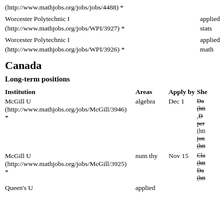(http://www.mathjobs.org/jobs/jobs/4488) *
Worcester Polytechnic I
(http://www.mathjobs.org/jobs/WPI/3927) *	applied stats
Worcester Polytechnic I
(http://www.mathjobs.org/jobs/WPI/3926) *	applied math
Canada
Long-term positions
| Institution | Areas | Apply by | She |
| --- | --- | --- | --- |
| McGill U
(http://www.mathjobs.org/jobs/McGill/3946)
* | algebra | Dec 1 | Da
(htt
,D
per
(htt
jon
(htt |
| McGill U
(http://www.mathjobs.org/jobs/McGill/3925)
* | num thy | Nov 15 | Cla
(htt
Da
(htt |
| Queen's U | applied |  |  |